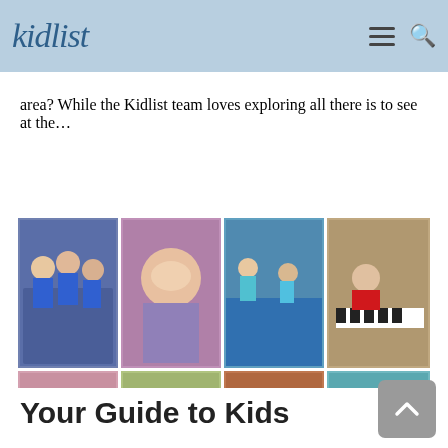kidlist
area? While the Kidlist team loves exploring all there is to see at the…
[Figure (photo): 2x4 grid of photos showing children in various activities: performing arts, gymnastics, piano, ballet, crafts, basketball, and gymnastics beam]
Your Guide to Kids